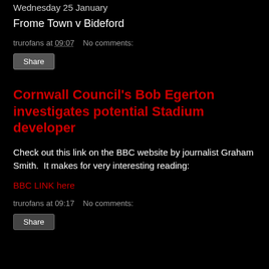Wednesday 25 January
Frome Town v Bideford
trurofans at 09:07    No comments:
Share
Cornwall Council's Bob Egerton investigates potential Stadium developer
Check out this link on the BBC website by journalist Graham Smith.  It makes for very interesting reading:
BBC LINK here
trurofans at 09:17    No comments:
Share